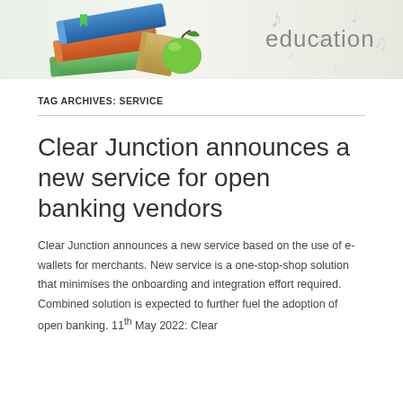[Figure (illustration): Education banner with colorful stacked books, a green apple, and the word 'education' in grey text on a light background with music note decorations]
TAG ARCHIVES: SERVICE
Clear Junction announces a new service for open banking vendors
Clear Junction announces a new service based on the use of e-wallets for merchants. New service is a one-stop-shop solution that minimises the onboarding and integration effort required. Combined solution is expected to further fuel the adoption of open banking. 11th May 2022: Clear